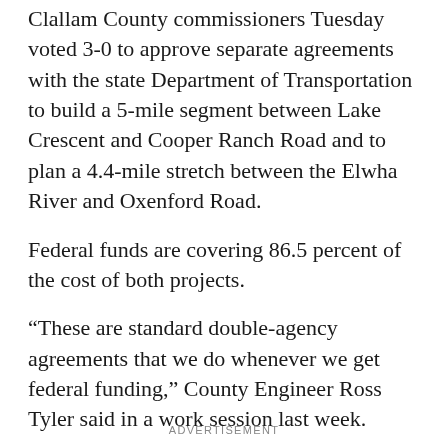Clallam County commissioners Tuesday voted 3-0 to approve separate agreements with the state Department of Transportation to build a 5-mile segment between Lake Crescent and Cooper Ranch Road and to plan a 4.4-mile stretch between the Elwha River and Oxenford Road.
Federal funds are covering 86.5 percent of the cost of both projects.
“These are standard double-agency agreements that we do whenever we get federal funding,” County Engineer Ross Tyler said in a work session last week.
“We’re working our way west on the Olympic Discovery Trail.”
ADVERTISEMENT